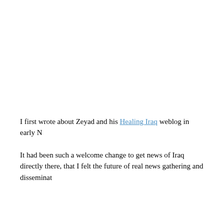I first wrote about Zeyad and his Healing Iraq weblog in early N
It had been such a welcome change to get news of Iraq directly there, that I felt the future of real news gathering and disseminat